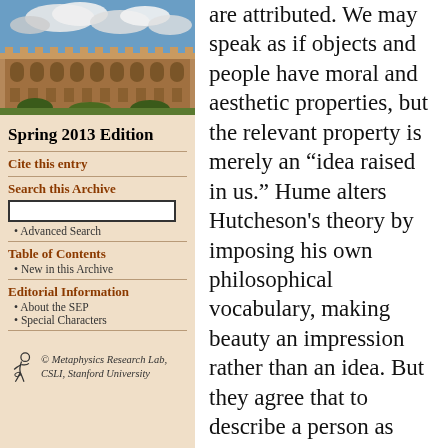[Figure (photo): Photograph of a stone university building (quadrangle) with blue sky and clouds, sandstone Gothic architecture]
Spring 2013 Edition
Cite this entry
Search this Archive
• Advanced Search
Table of Contents
• New in this Archive
Editorial Information
• About the SEP
• Special Characters
[Figure (logo): Metaphysics Research Lab, CSIL, Stanford University logo with stylized figure]
are attributed. We may speak as if objects and people have moral and aesthetic properties, but the relevant property is merely an “idea raised in us.” Hume alters Hutcheson’s theory by imposing his own philosophical vocabulary, making beauty an impression rather than an idea. But they agree that to describe a person as virtuous or an object as beautiful is to make a claim about their tendency to cause a certain response. Is it imprudent and “too strong,” Hume asks Hutcheson, to summarize the thesis in the following terms (HL, I, 39–40)? “[W]hen you pronounce any action or